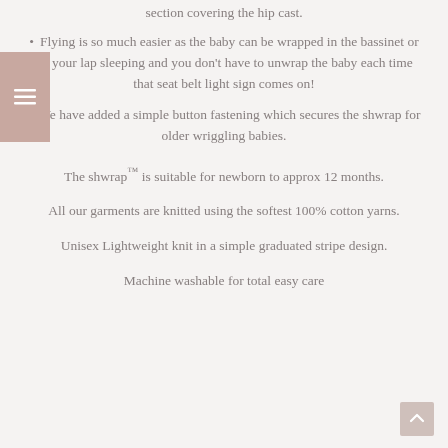section covering the hip cast.
Flying is so much easier as the baby can be wrapped in the bassinet or on your lap sleeping and you don't have to unwrap the baby each time that seat belt light sign comes on!
We have added a simple button fastening which secures the shwrap for older wriggling babies.
The shwrap™ is suitable for newborn to approx 12 months.
All our garments are knitted using the softest 100% cotton yarns.
Unisex Lightweight knit in a simple graduated stripe design.
Machine washable for total easy care